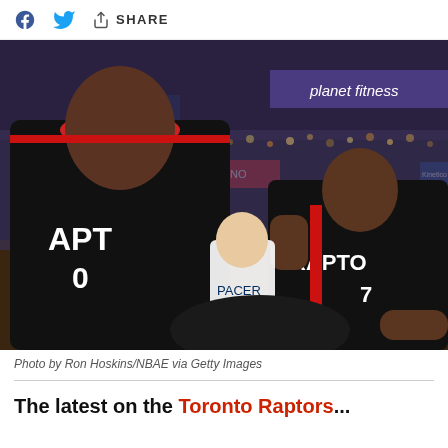[Figure (other): Social share bar with Facebook icon, Twitter bird icon, and share icon with SHARE label]
[Figure (photo): NBA basketball game photo showing Toronto Raptors players celebrating on the court, wearing black uniforms with red trim. A large player with red headband (#0) is prominent on the left, and Kyle Lowry (#7) is celebrating on the right with fist raised. Pacers player #20 visible in background. Arena shows CNO and Kinetico sponsor signage, planet fitness ad visible. Score clock shows 1:46. Crowd fills the arena.]
Photo by Ron Hoskins/NBAE via Getty Images
The latest on the Toronto Raptors...